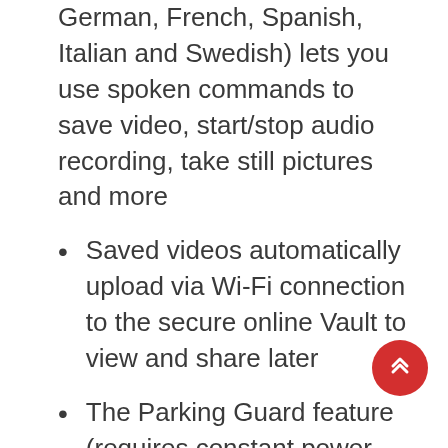German, French, Spanish, Italian and Swedish) lets you use spoken commands to save video, start/stop audio recording, take still pictures and more
Saved videos automatically upload via Wi-Fi connection to the secure online Vault to view and share later
The Parking Guard feature (requires constant power and an active connection with Wi-Fi technology; access via the Garmin Drive app on your compatible smartphone) monitors activity around your parked vehicle and alerts if an incident is detected